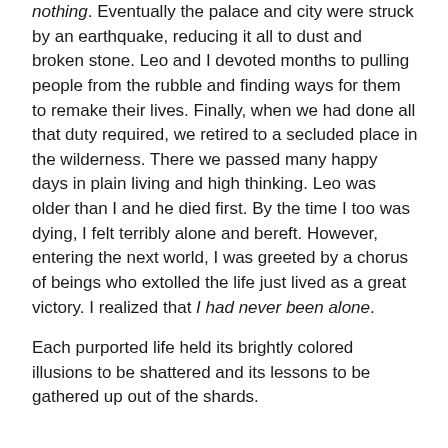nothing. Eventually the palace and city were struck by an earthquake, reducing it all to dust and broken stone. Leo and I devoted months to pulling people from the rubble and finding ways for them to remake their lives. Finally, when we had done all that duty required, we retired to a secluded place in the wilderness. There we passed many happy days in plain living and high thinking. Leo was older than I and he died first. By the time I too was dying, I felt terribly alone and bereft. However, entering the next world, I was greeted by a chorus of beings who extolled the life just lived as a great victory. I realized that I had never been alone.
Each purported life held its brightly colored illusions to be shattered and its lessons to be gathered up out of the shards.